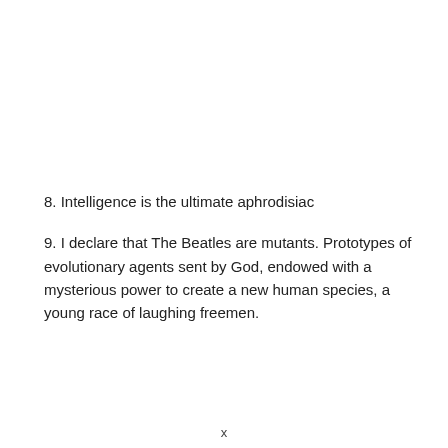8. Intelligence is the ultimate aphrodisiac
9. I declare that The Beatles are mutants. Prototypes of evolutionary agents sent by God, endowed with a mysterious power to create a new human species, a young race of laughing freemen.
x